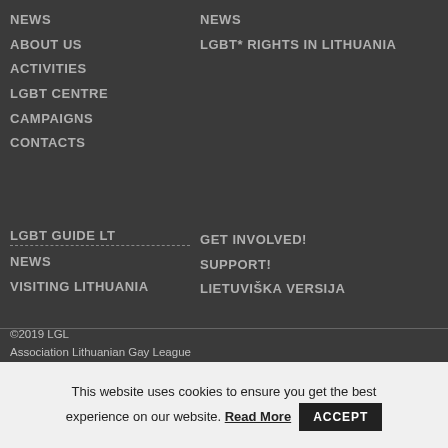NEWS
ABOUT US
ACTIVITIES
LGBT CENTRE
CAMPAIGNS
CONTACTS
NEWS
LGBT* RIGHTS IN LITHUANIA
LGBT GUIDE LT
NEWS
VISITING LITHUANIA
GET INVOLVED!
SUPPORT!
LIETUVIŠKA VERSIJA
©2019 LGL
Association Lithuanian Gay League

Address: V. Šopeno str. 1-1, LT-03211 Vilnius, Lithuania
Code: 291902980

Tel: +370 5 2610314
This website uses cookies to ensure you get the best experience on our website. Read More ACCEPT